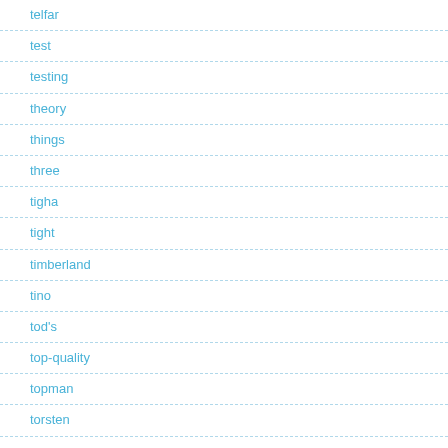telfar
test
testing
theory
things
three
tigha
tight
timberland
tino
tod's
top-quality
topman
torsten